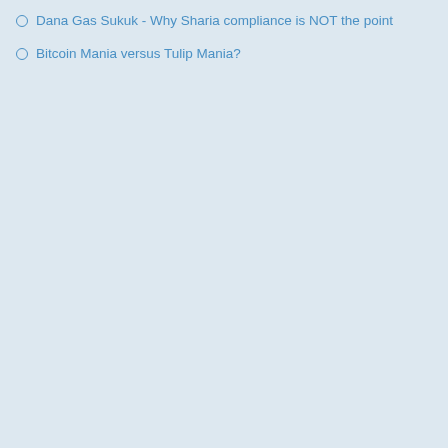Dana Gas Sukuk - Why Sharia compliance is NOT the point
Bitcoin Mania versus Tulip Mania?
more
bln #sukuk "soon" -pre...
Tue, 2018-03-06 11:46 — newsdesk
The Islamic Development Bank (IDB... "soon". Bank President Bandar Hajja... million fund to support science and t... hired banks as joint lead managers a... sukuk. The banks are CIMB, Citi, Em... NATIXIS, SMBC Nikko and Standard... a memorandum of understanding wi... Bank (AIIB) soon, on joint investing i... not disclosed, but it would target the...
Source:
https://in.reuters.com/article/emergin...
Sukuk   Islamic b...
London can be at the h... revolution